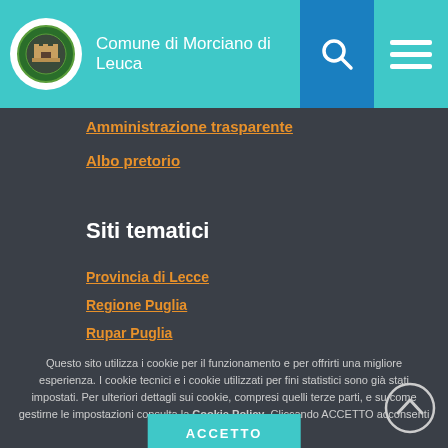Comune di Morciano di Leuca
Amministrazione trasparente
Albo pretorio
Siti tematici
Provincia di Lecce
Regione Puglia
Rupar Puglia
Questo sito utilizza i cookie per il funzionamento e per offrirti una migliore esperienza. I cookie tecnici e i cookie utilizzati per fini statistici sono già stati impostati. Per ulteriori dettagli sui cookie, compresi quelli terze parti, e su come gestirne le impostazioni consulta la Cookie Policy. Cliccando ACCETTO acconsenti all'utilizzo dei cookie.
ACCETTO